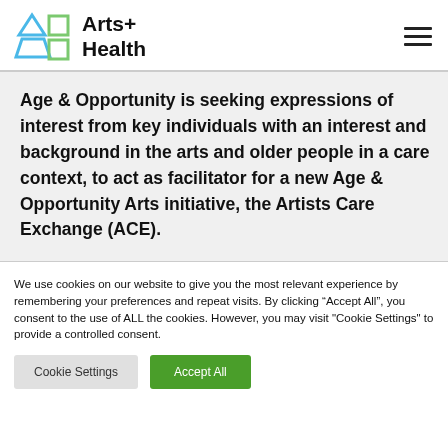Arts+ Health
Age & Opportunity is seeking expressions of interest from key individuals with an interest and background in the arts and older people in a care context, to act as facilitator for a new Age & Opportunity Arts initiative, the Artists Care Exchange (ACE).
We use cookies on our website to give you the most relevant experience by remembering your preferences and repeat visits. By clicking “Accept All”, you consent to the use of ALL the cookies. However, you may visit "Cookie Settings" to provide a controlled consent.